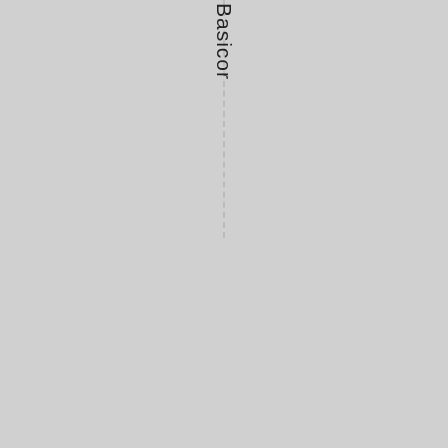Basicor
Manage Cookie Consent
To provide the best experiences, we use technologies like cookies to store and/or access device information. Consenting to these technologies will allow us to process data such as browsing behavior or unique IDs on this site. Not consenting or withdrawing consent, may adversely affect certain features and functions.
Accept
Deny
View preferences